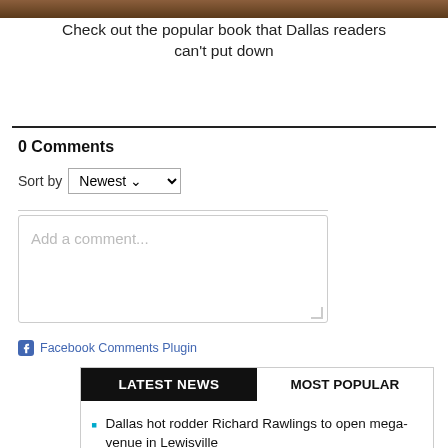[Figure (photo): Top banner image strip, brown/dark tones]
Check out the popular book that Dallas readers can't put down
0 Comments
Sort by Newest
[Figure (screenshot): Add a comment... text input box]
Facebook Comments Plugin
LATEST NEWS | MOST POPULAR
Dallas hot rodder Richard Rawlings to open mega-venue in Lewisville
Dallas BBQ joint smokes competition in H-E-B's quest for Texas' best